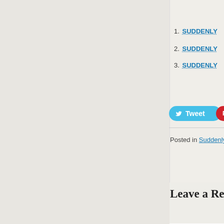1. SUDDENLY
2. SUDDENLY
3. SUDDENLY
Tweet
Sa...
Posted in Suddenly Fru...
Leave a Reply
Name *
Email *
Website
Solve the following m...